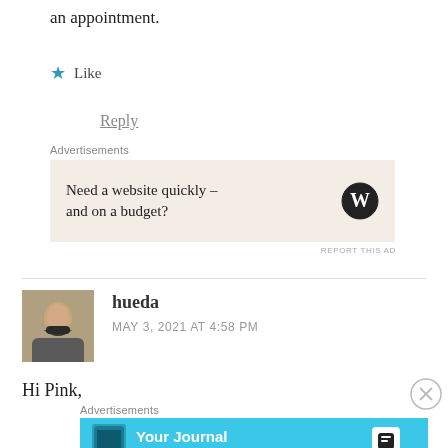an appointment.
★ Like
Reply
Advertisements
[Figure (screenshot): WordPress advertisement: 'Need a website quickly – and on a budget?' with WordPress logo on beige background]
REPORT THIS AD
hueda
MAY 3, 2021 AT 4:58 PM
Hi Pink,
Advertisements
[Figure (screenshot): Day One app advertisement: 'Your Journal for life' on a blue background with phone image and Day One logo]